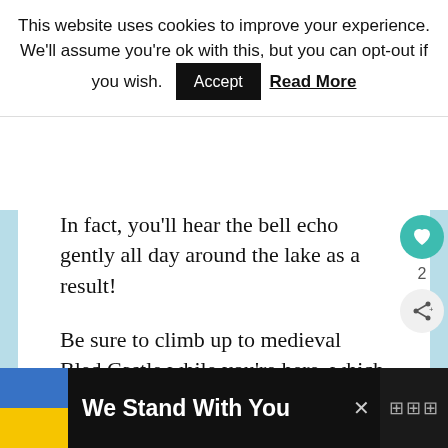This website uses cookies to improve your experience. We'll assume you're ok with this, but you can opt-out if you wish. [Accept] Read More
In fact, you'll hear the bell echo gently all day around the lake as a result!
Be sure to climb up to medieval Bled Castle while you're here, which dates back to 1004.
It sits on a precipice high above the lake and is a great place for lunch or dinner with a view. (Be sure to reserve in advance.)
We Stand With You